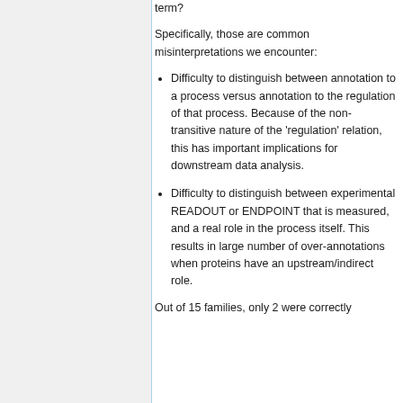term?
Specifically, those are common misinterpretations we encounter:
Difficulty to distinguish between annotation to a process versus annotation to the regulation of that process. Because of the non-transitive nature of the 'regulation' relation, this has important implications for downstream data analysis.
Difficulty to distinguish between experimental READOUT or ENDPOINT that is measured, and a real role in the process itself. This results in large number of over-annotations when proteins have an upstream/indirect role.
Out of 15 families, only 2 were correctly